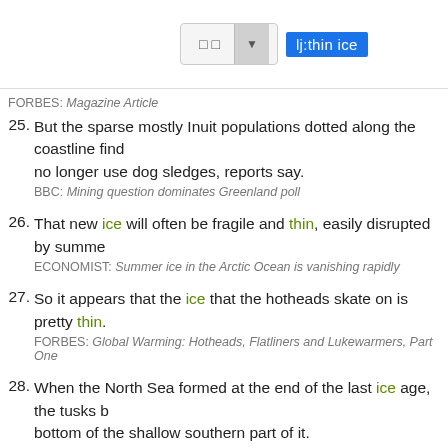[Figure (screenshot): Search bar UI with dropdown and highlighted search query 'lj:thin ice']
25. But the sparse mostly Inuit populations dotted along the coastline find... no longer use dog sledges, reports say.
BBC: Mining question dominates Greenland poll
26. That new ice will often be fragile and thin, easily disrupted by summe...
ECONOMIST: Summer ice in the Arctic Ocean is vanishing rapidly
27. So it appears that the ice that the hotheads skate on is pretty thin.
FORBES: Global Warming: Hotheads, Flatliners and Lukewarmers, Part One
28. When the North Sea formed at the end of the last ice age, the tusks b... bottom of the shallow southern part of it.
BBC: Tim Batty, curator of the Dinosaur Museum, with the tusks
29. In the United States, investigators with Homeland Security Investigati...